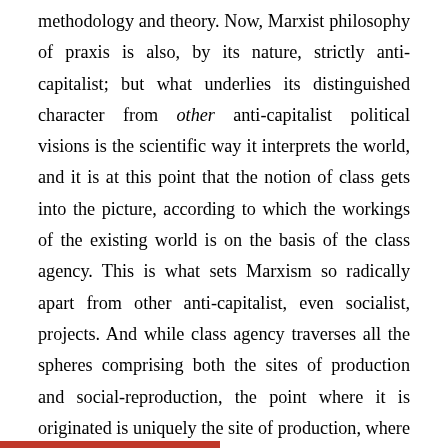methodology and theory. Now, Marxist philosophy of praxis is also, by its nature, strictly anti-capitalist; but what underlies its distinguished character from other anti-capitalist political visions is the scientific way it interprets the world, and it is at this point that the notion of class gets into the picture, according to which the workings of the existing world is on the basis of the class agency. This is what sets Marxism so radically apart from other anti-capitalist, even socialist, projects. And while class agency traverses all the spheres comprising both the sites of production and social-reproduction, the point where it is originated is uniquely the site of production, where the specificity of capitalism emerges: the separation of the economic and the political.37 While the economic involves the relations of production, and therefore